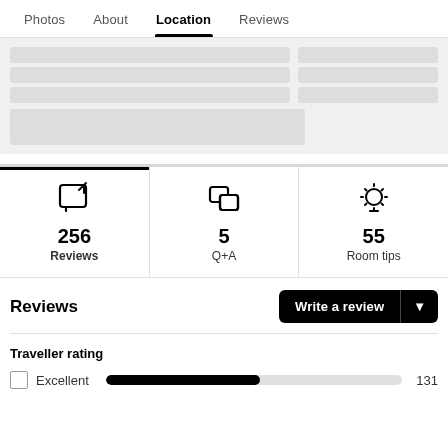Photos  About  Location  Reviews
[Figure (screenshot): Map placeholder skeleton rows showing loading state with grey bars in two columns]
256 Reviews  5 Q+A  55 Room tips
Reviews
Write a review
Traveller rating
Excellent  131